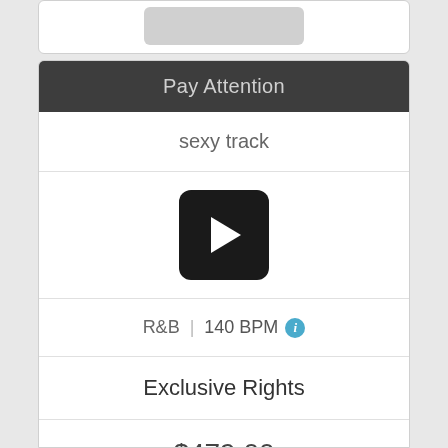Pay Attention
sexy track
[Figure (other): Black rounded square play button with white triangle/arrow]
R&B  |  140 BPM  ℹ
Exclusive Rights
$479.00
($60 CASH BACK TODAY ONLY)
Buy it now $419.00